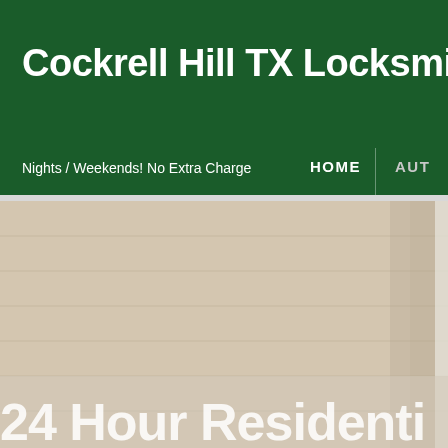Cockrell Hill TX Locksmithin
Nights / Weekends! No Extra Charge
HOME
AUT
[Figure (photo): Background photo of a door with a lock/deadbolt handle, slightly blurred, with a partial overlay of a white vertical sidebar element on the right.]
24 Hour Residenti